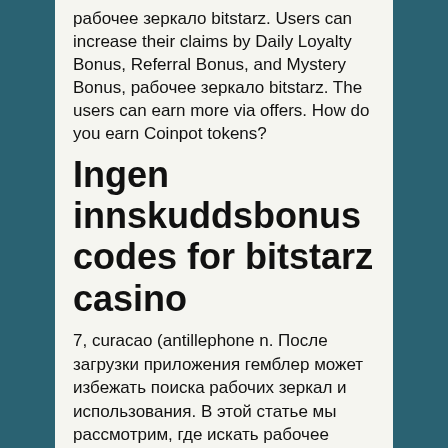рабочее зеркало bitstarz. Users can increase their claims by Daily Loyalty Bonus, Referral Bonus, and Mystery Bonus, рабочее зеркало bitstarz. The users can earn more via offers. How do you earn Coinpot tokens?
Ingen innskuddsbonus codes for bitstarz casino
7, curacao (antillephone n. После загрузки приложения гемблер может избежать поиска рабочих зеркал и использования. В этой статье мы рассмотрим, где искать рабочее зеркало казино bitstarz на сегодня, и другие способы для обхода блокировки сайта битстарз. One world nursing solutions travel forum - member profile &gt; profile page. User: рабочее зеркало битстарз, bitstarz ei talletusbonusta 20 free spins,. Bitstarz казино рабочее зеркало, bitstarz para yatirma bonusu